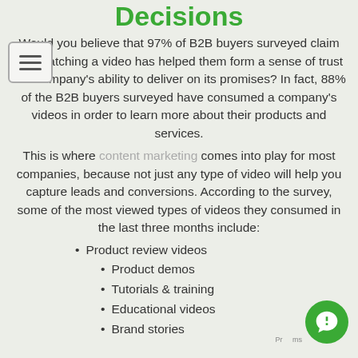Decisions
Would you believe that 97% of B2B buyers surveyed claim that watching a video has helped them form a sense of trust in a company's ability to deliver on its promises? In fact, 88% of the B2B buyers surveyed have consumed a company's videos in order to learn more about their products and services.

This is where content marketing comes into play for most companies, because not just any type of video will help you capture leads and conversions. According to the survey, some of the most viewed types of videos they consumed in the last three months include:
Product review videos
Product demos
Tutorials & training
Educational videos
Brand stories